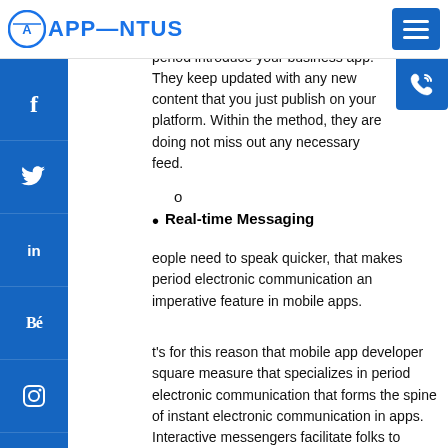[Figure (logo): Apprentus logo with blue circular icon and blue text 'APPRENTUS']
Instagram, and Twitter. The end-users will hugely profit after you integrate period introduce your business app. They keep updated with any new content that you just publish on your platform. Within the method, they are doing not miss out any necessary feed.
Real-time Messaging
eople need to speak quicker, that makes period electronic communication an imperative feature in mobile apps.
t's for this reason that mobile app developer square measure that specializes in period electronic communication that forms the spine of instant electronic communication in apps. Interactive messengers facilitate folks to share all sorts of files and documents.